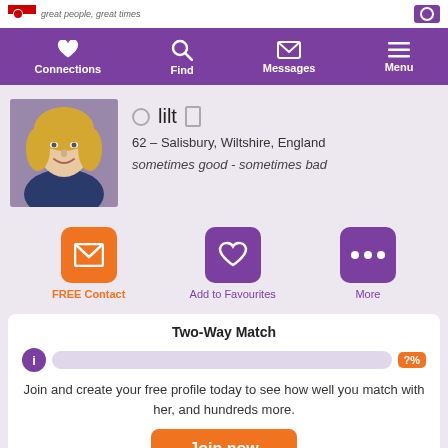great people, great times
Connections | Find | Messages | Menu
[Figure (photo): Profile photo of a woman with blonde hair, smiling, wearing a dark top]
lilt — 62 – Salisbury, Wiltshire, England — sometimes good - sometimes bad
FREE Contact | Add to Favourites | More
Two-Way Match
Join and create your free profile today to see how well you match with her, and hundreds more.
Join now
Online: More than 6 months ago